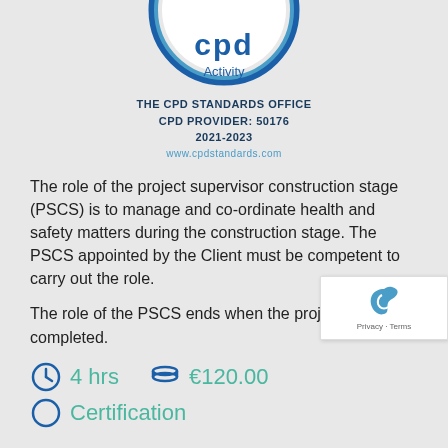[Figure (logo): CPD certified activity badge/seal — circular blue and white logo with 'Activity' text, partially cropped at top]
THE CPD STANDARDS OFFICE
CPD PROVIDER: 50176
2021-2023
www.cpdstandards.com
The role of the project supervisor construction stage (PSCS) is to manage and co-ordinate health and safety matters during the construction stage. The PSCS appointed by the Client must be competent to carry out the role.
The role of the PSCS ends when the project is completed.
4 hrs   €120.00
Certification